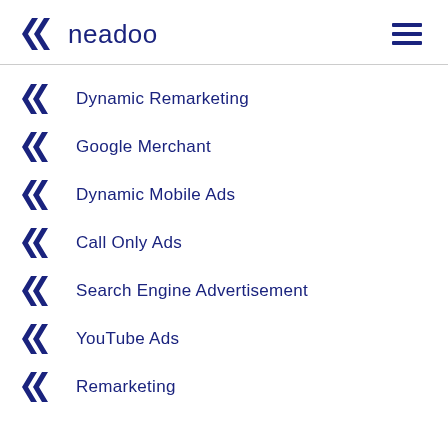neadoo
Dynamic Remarketing
Google Merchant
Dynamic Mobile Ads
Call Only Ads
Search Engine Advertisement
YouTube Ads
Remarketing